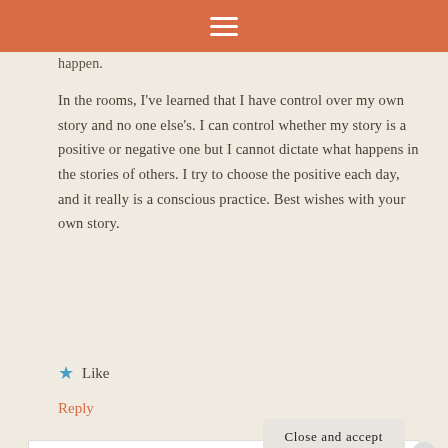≡
happen.
In the rooms, I've learned that I have control over my own story and no one else's. I can control whether my story is a positive or negative one but I cannot dictate what happens in the stories of others. I try to choose the positive each day, and it really is a conscious practice. Best wishes with your own story.
★ Like
Reply
Privacy & Cookies: This site uses cookies. By continuing to use this website, you agree to their use.
To find out more, including how to control cookies, see here: Cookie Policy
Close and accept